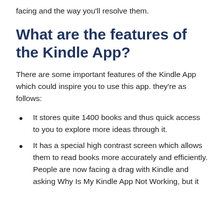facing and the way you'll resolve them.
What are the features of the Kindle App?
There are some important features of the Kindle App which could inspire you to use this app. they're as follows:
It stores quite 1400 books and thus quick access to you to explore more ideas through it.
It has a special high contrast screen which allows them to read books more accurately and efficiently. People are now facing a drag with Kindle and asking Why Is My Kindle App Not Working, but it